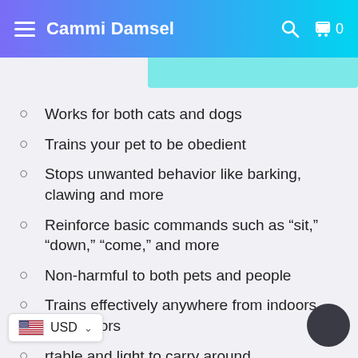Cammi Damsel
Works for both cats and dogs
Trains your pet to be obedient
Stops unwanted behavior like barking, clawing and more
Reinforce basic commands such as “sit,” “down,” “come,” and more
Non-harmful to both pets and people
Trains effectively anywhere from indoors to outdoors
rtable and light to carry around